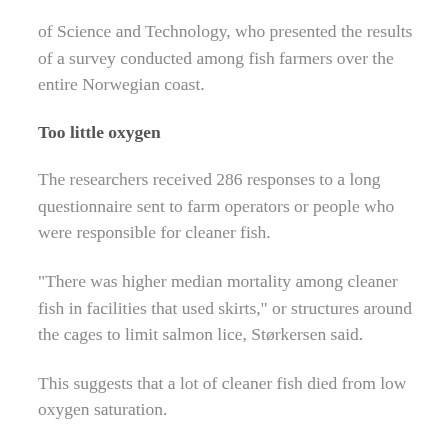of Science and Technology, who presented the results of a survey conducted among fish farmers over the entire Norwegian coast.
Too little oxygen
The researchers received 286 responses to a long questionnaire sent to farm operators or people who were responsible for cleaner fish.
“There was higher median mortality among cleaner fish in facilities that used skirts,” or structures around the cages to limit salmon lice, Størkersen said.
This suggests that a lot of cleaner fish died from low oxygen saturation.